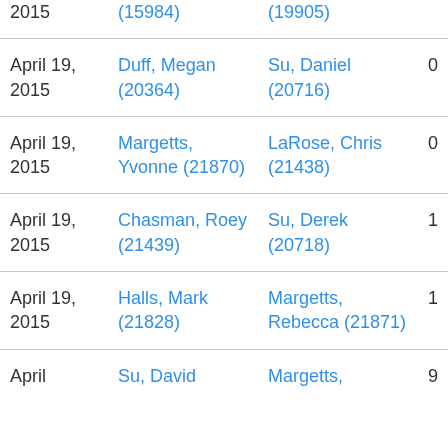| Date | Player 1 | Player 2 | Score 1 | Score 2 |
| --- | --- | --- | --- | --- |
| 2015 (partial) | (15984) | (19905) |  |  |
| April 19, 2015 | Duff, Megan (20364) | Su, Daniel (20716) | 0 | 7 |
| April 19, 2015 | Margetts, Yvonne (21870) | LaRose, Chris (21438) | 0 | 7 |
| April 19, 2015 | Chasman, Roey (21439) | Su, Derek (20718) | 1 | 0 |
| April 19, 2015 | Halls, Mark (21828) | Margetts, Rebecca (21871) | 1 | 0 |
| April (partial) | Su, David | Margetts, | 9 | 0 |